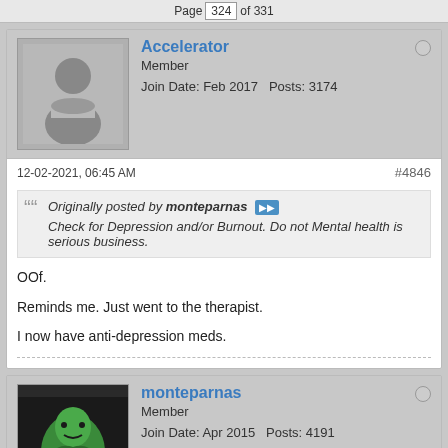Page 324 of 331
Accelerator
Member
Join Date: Feb 2017   Posts: 3174
12-02-2021, 06:45 AM
#4846
Originally posted by monteparnas
Check for Depression and/or Burnout. Do not Mental health is serious business.
OOf.

Reminds me. Just went to the therapist.

I now have anti-depression meds.
monteparnas
Member
Join Date: Apr 2015   Posts: 4191